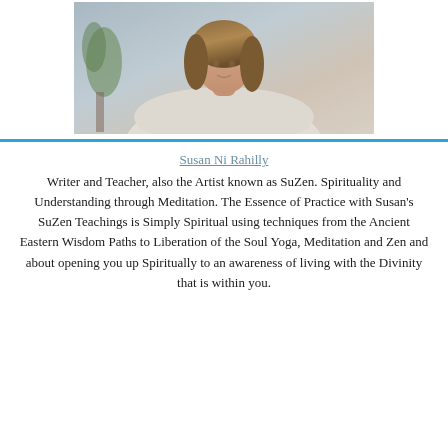[Figure (photo): Portrait photo of a woman with long wavy hair, wearing a white/cream off-shoulder top, seated against a light gray background with a plant visible to the left.]
Susan Ni Rahilly
Writer and Teacher, also the Artist known as SuZen. Spirituality and Understanding through Meditation. The Essence of Practice with Susan’s SuZen Teachings is Simply Spiritual using techniques from the Ancient Eastern Wisdom Paths to Liberation of the Soul Yoga, Meditation and Zen and about opening you up Spiritually to an awareness of living with the Divinity that is within you.